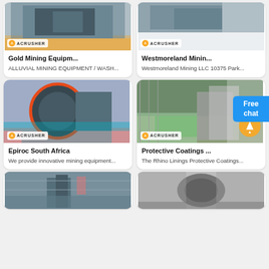[Figure (photo): Gold mining equipment photo with Acrusher logo]
Gold Mining Equipm...
ALLUVIAL MINING EQUIPMENT / WASH...
[Figure (photo): Westmoreland Mining equipment photo with Acrusher logo]
Westmoreland Minin...
Westmoreland Mining LLC 10375 Park...
[Figure (photo): Epiroc South Africa jaw crusher industrial photo with Acrusher logo]
Epiroc South Africa
We provide innovative mining equipment...
[Figure (photo): Protective Coatings industrial plant photo with Acrusher logo and expand icon]
Protective Coatings ...
The Rhino Linings Protective Coatings...
[Figure (photo): Bottom left industrial facility photo]
[Figure (photo): Bottom right industrial equipment photo]